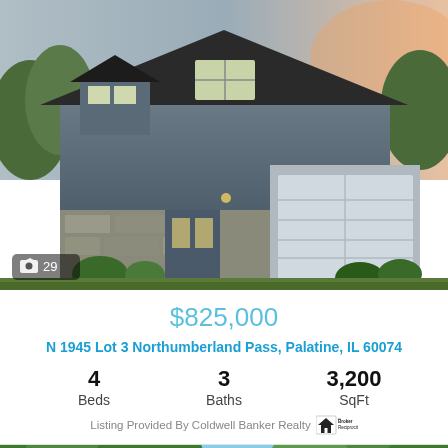[Figure (photo): Exterior photo of a two-story gray house with stone accents, white garage door, and landscaping at dusk. Photo count badge shows 29.]
$825,000
N 1945 Lot 3 Northumberland Pass, Palatine, IL 60074
4 Beds  3 Baths  3,200 SqFt
Listing Provided By Coldwell Banker Realty [Broker Reciprocity logo]
[Figure (photo): Exterior photo of a large two-story brick/tan house surrounded by lush green trees.]